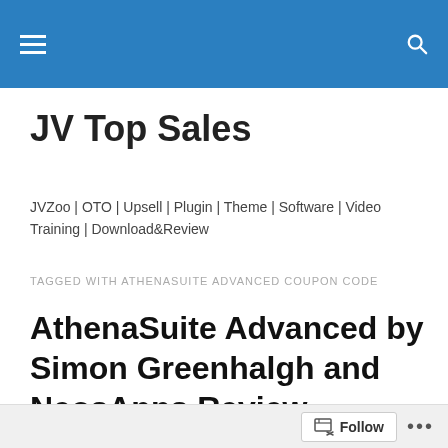JV Top Sales — navigation bar with hamburger menu and search icon
JV Top Sales
JVZoo | OTO | Upsell | Plugin | Theme | Software | Video Training | Download&Review
TAGGED WITH ATHENASUITE ADVANCED COUPON CODE
AthenaSuite Advanced by Simon Greenhalgh and NeosApps Review – Breakthrough Instagram App and Training That Gets...
Follow ...